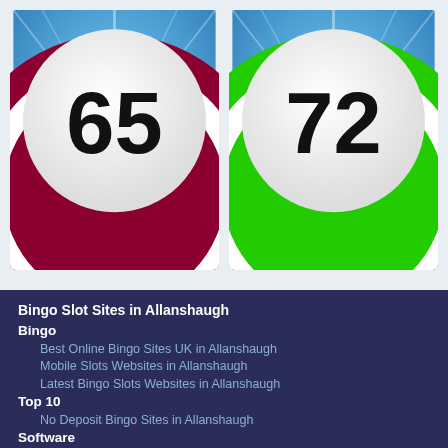[Figure (illustration): Two bingo balls side by side. Left ball shows number 65 with dark red/crimson rings on a blue background. Right ball shows number 72 with green rings on a blue background.]
Bingo Slot Sites in Allanshaugh
Bingo
Best Online Bingo Sites UK in Allanshaugh
Mobile Slots Websites in Allanshaugh
Latest Bingo Slots Websites in Allanshaugh
Top 10
No Deposit Bingo Sites in Allanshaugh
Software
Cozy Games Bingo Sites in Allanshaugh
Free Bingo Sites
Bingo Sites with No Deposit Required in Allanshaugh
Free No Deposit Bingo Win Real Cash in Allanshaugh
Free Bingo No Deposit No Card Details in Allanshaugh
Free Bingo Signup Welcome Offer in Allanshaugh
Payment